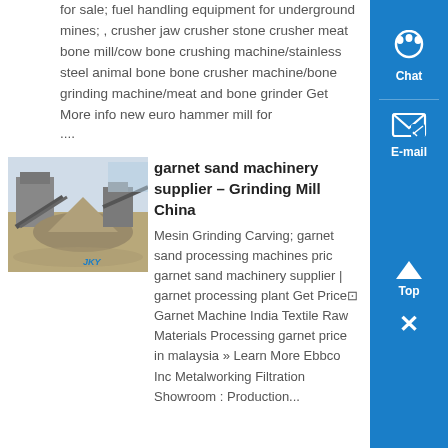for sale; fuel handling equipment for underground mines; , crusher jaw crusher stone crusher meat bone mill/cow bone crushing machine/stainless steel animal bone bone crusher machine/bone grinding machine/meat and bone grinder Get More info new euro hammer mill for ....
garnet sand machinery supplier – Grinding Mill China
[Figure (photo): Photo of industrial stone crushing/processing machinery outdoors with conveyors and large equipment, labeled JKY]
Mesin Grinding Carving; garnet sand processing machines pric garnet sand machinery supplier | garnet processing plant Get Price⊡ Garnet Machine India Textile Raw Materials Processing garnet price in malaysia » Learn More Ebbco Inc Metalworking Filtration Showroom : Production...